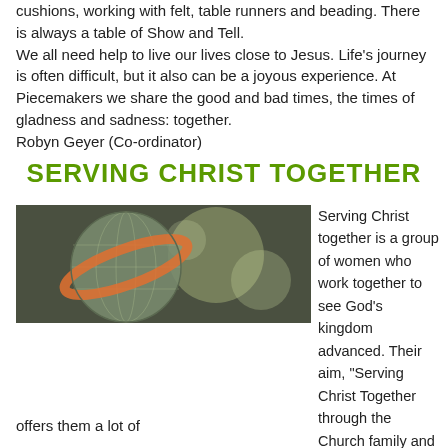cushions, working with felt, table runners and beading. There is always a table of Show and Tell.
We all need help to live our lives close to Jesus. Life's journey is often difficult, but it also can be a joyous experience. At Piecemakers we share the good and bad times, the times of gladness and sadness: together.
Robyn Geyer (Co-ordinator)
SERVING CHRIST TOGETHER
[Figure (photo): A globe with an orange ring against a dark blurred background with soft light bokeh effects.]
Serving Christ together is a group of women who work together to see God's kingdom advanced. Their aim, "Serving Christ Together through the Church family and through missionary support", offers them a lot of